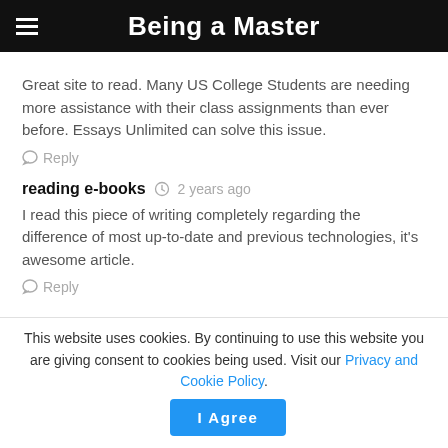Being a Master
Great site to read. Many US College Students are needing more assistance with their class assignments than ever before. Essays Unlimited can solve this issue.
Reply
reading e-books   2 years ago
I read this piece of writing completely regarding the difference of most up-to-date and previous technologies, it's awesome article.
Reply
This website uses cookies. By continuing to use this website you are giving consent to cookies being used. Visit our Privacy and Cookie Policy.